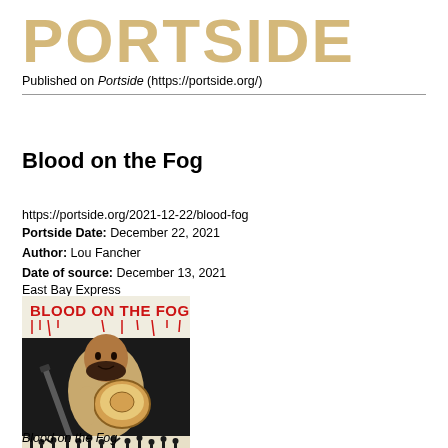PORTSIDE
Published on Portside (https://portside.org/)
Blood on the Fog
https://portside.org/2021-12-22/blood-fog
Portside Date: December 22, 2021
Author: Lou Fancher
Date of source: December 13, 2021
East Bay Express
[Figure (illustration): Album/book cover for 'Blood on the Fog' showing a painted illustration of a man holding a drum or tambourine, with red bold text 'BLOOD ON THE FOG' at the top and silhouettes of figures at the bottom.]
Blood on the Fog